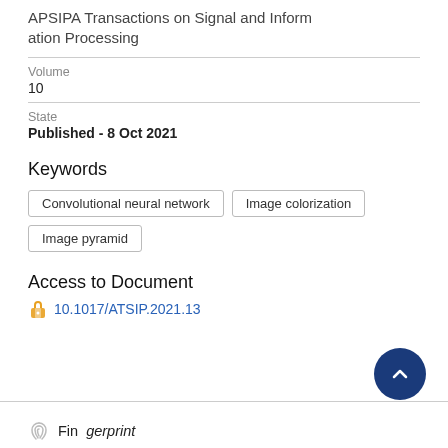APSIPA Transactions on Signal and Information Processing
Volume
10
State
Published - 8 Oct 2021
Keywords
Convolutional neural network
Image colorization
Image pyramid
Access to Document
10.1017/ATSIP.2021.13
Fingerprint